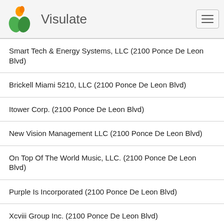Visulate
Smart Tech & Energy Systems, LLC (2100 Ponce De Leon Blvd)
Brickell Miami 5210, LLC (2100 Ponce De Leon Blvd)
Itower Corp. (2100 Ponce De Leon Blvd)
New Vision Management LLC (2100 Ponce De Leon Blvd)
On Top Of The World Music, LLC. (2100 Ponce De Leon Blvd)
Purple Is Incorporated (2100 Ponce De Leon Blvd)
Xcviii Group Inc. (2100 Ponce De Leon Blvd)
Bral Re Investments, LLC (2100 Ponce De Leon Blvd Ste 1050)
Linq Risk Management, LLC (2100 Ponce De Leon Blvd)
Marc-O Key Group, LLC (2100 Ponce De Leon Blvd)